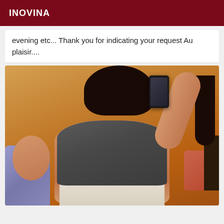INOVINA
evening etc... Thank you for indicating your request Au plaisir....
[Figure (photo): Person taking a mirror selfie wearing a dark gray tube top, showing midriff, with dark hair, holding a phone. Room has warm orange-brown walls, colorful pillows and bedding visible.]